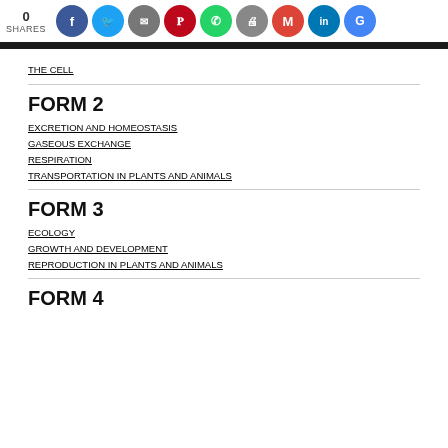0 SHARES
THE CELL
FORM 2
EXCRETION AND HOMEOSTASIS
GASEOUS EXCHANGE
RESPIRATION
TRANSPORTATION IN PLANTS AND ANIMALS
FORM 3
ECOLOGY
GROWTH AND DEVELOPMENT
REPRODUCTION IN PLANTS AND ANIMALS
FORM 4